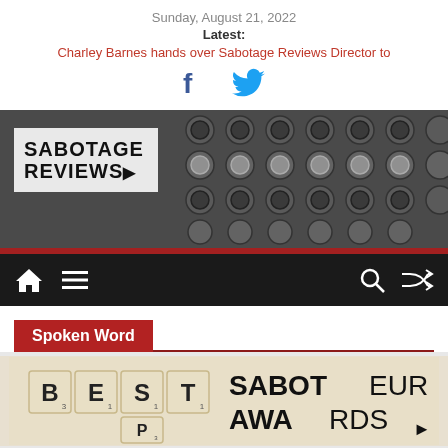Sunday, August 21, 2022
Latest:
Charley Barnes hands over Sabotage Reviews Director to
[Figure (logo): Facebook and Twitter social media icons]
[Figure (photo): Sabotage Reviews banner with typewriter keys in background and logo overlay reading SABOTAGE REVIEWS with cursor arrow]
[Figure (infographic): Navigation bar with home icon, hamburger menu icon, search icon, and shuffle icon on dark background]
Spoken Word
[Figure (photo): BEST SABOTEUR AWARDS promotional image with Scrabble tiles spelling BEST and SABOTEUR AWARDS text with cursor arrow logo]